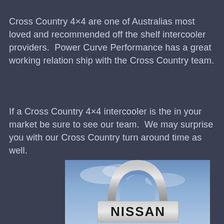Cross Country 4×4 are one of Australias most loved and recommended off the shelf intercooler providers.  Power Curve Performance has a great working relation ship with the Cross Country team.
If a Cross Country 4×4 intercooler is the in your market be sure to see our team.  We may surprise you with our Cross Country turn around time as well.
[Figure (photo): Nissan logo sign against a blue sky background — a large chrome arch/horseshoe shape above a rectangular silver plate with 'NISSAN' in bold black letters]